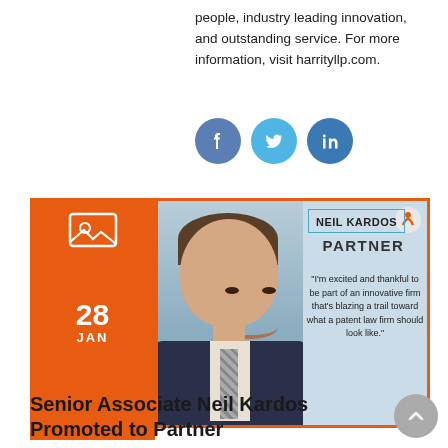people, industry leading innovation, and outstanding service. For more information, visit harrityllp.com.
[Figure (illustration): Three social media icons: Facebook (blue circle with f), Twitter (cyan circle with bird), LinkedIn (blue circle with in)]
[Figure (infographic): Promotional card with orange border and orange date sidebar showing 28 JAN. Card features a headshot photo of Neil Kardos and text: NEIL KARDOS PARTNER. Quote: I'm excited and thankful to be part of an innovative firm that's blazing a trail toward what a patent law firm should look like.]
Senior Associate Neil Kardos Promoted to Partner